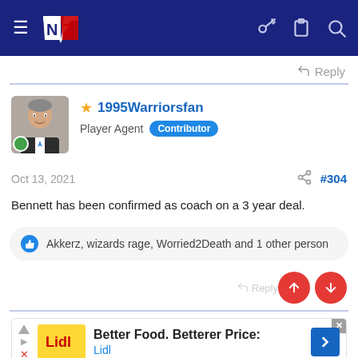[Figure (screenshot): Navigation bar with hamburger menu, NZ Warriors logo, and icons for key, clipboard, and search on dark blue background]
Reply
1995Warriorsfan
Player Agent Contributor
Oct 13, 2021
#304
Bennett has been confirmed as coach on a 3 year deal.
Akkerz, wizards rage, Worried2Death and 1 other person
Better Food. Betterer Price:
Lidl